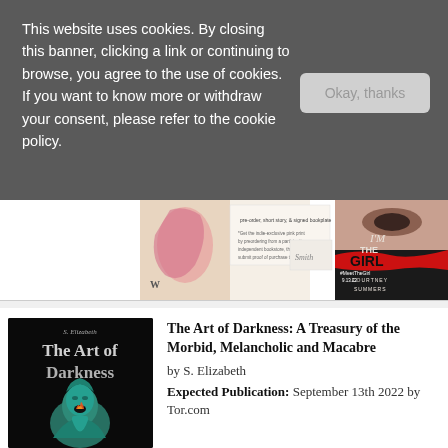This website uses cookies. By closing this banner, clicking a link or continuing to browse, you agree to the use of cookies. If you want to know more or withdraw your consent, please refer to the cookie policy.
[Figure (screenshot): Book promotional banner showing 'I'm the Girl' by Courtney Summers with pink print and design elements]
[Figure (photo): Book cover for 'The Art of Darkness' by S. Elizabeth showing title text and a teal/green sculpture on dark background]
The Art of Darkness: A Treasury of the Morbid, Melancholic and Macabre by S. Elizabeth Expected Publication: September 13th 2022 by Tor.com